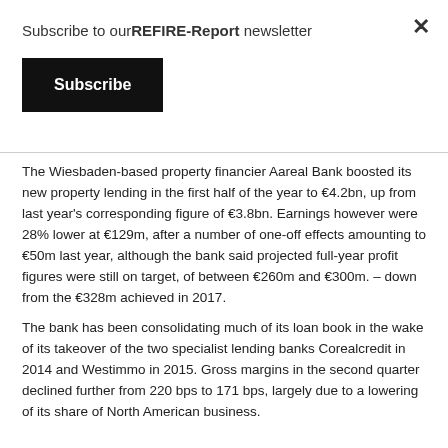Subscribe to ourREFIRE-Report newsletter
Subscribe
The Wiesbaden-based property financier Aareal Bank boosted its new property lending in the first half of the year to €4.2bn, up from last year's corresponding figure of €3.8bn. Earnings however were 28% lower at €129m, after a number of one-off effects amounting to €50m last year, although the bank said projected full-year profit figures were still on target, of between €260m and €300m. – down from the €328m achieved in 2017.
The bank has been consolidating much of its loan book in the wake of its takeover of the two specialist lending banks Corealcredit in 2014 and Westimmo in 2015. Gross margins in the second quarter declined further from 220 bps to 171 bps, largely due to a lowering of its share of North American business.